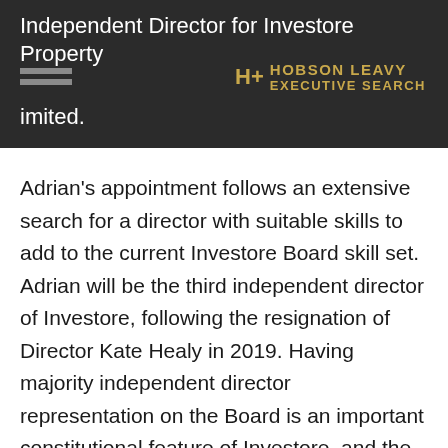Independent Director for Investore Property Limited.
[Figure (logo): Hobson Leavy Executive Search logo with golden H+ symbol and text]
Adrian's appointment follows an extensive search for a director with suitable skills to add to the current Investore Board skill set. Adrian will be the third independent director of Investore, following the resignation of Director Kate Healy in 2019. Having majority independent director representation on the Board is an important constitutional feature of Investore, and the Board is very pleased to welcome Adrian to the Board at this